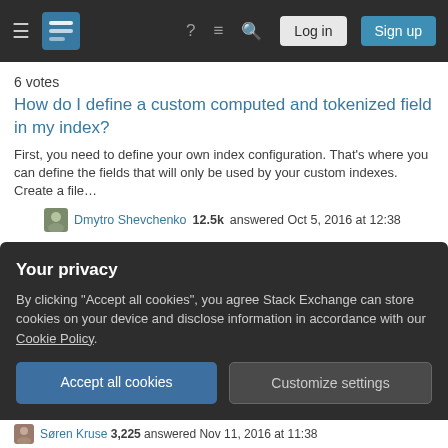Stack Exchange navigation bar with Log in and Sign up buttons
6 votes
How do I define a custom computed and tokenized field in my index?
First, you need to define your own index configuration. That's where you can define the fields that will only be used by your custom indexes. Create a file…
Dmytro Shevchenko 12.5k answered Oct 5, 2016 at 12:38
6 votes  Accepted
How do I define a custom computed and tokenized field in my index?
In the section of your index (<configuration ref="contentSearch/indexConfigurations/defaultLuceneIndexConfiguration" /...
Your privacy
By clicking "Accept all cookies", you agree Stack Exchange can store cookies on your device and disclose information in accordance with our Cookie Policy.
Accept all cookies
Customize settings
Søren Kruse 3,225 answered Nov 11, 2016 at 11:38